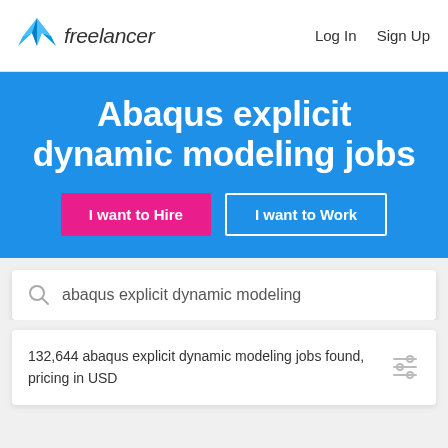[Figure (logo): Freelancer logo with blue origami bird icon and italic 'freelancer' text]
Log In   Sign Up
Abaqus explicit dynamic modeling jobs
I want to Hire
I want to Work
abaqus explicit dynamic modeling
132,644 abaqus explicit dynamic modeling jobs found, pricing in USD